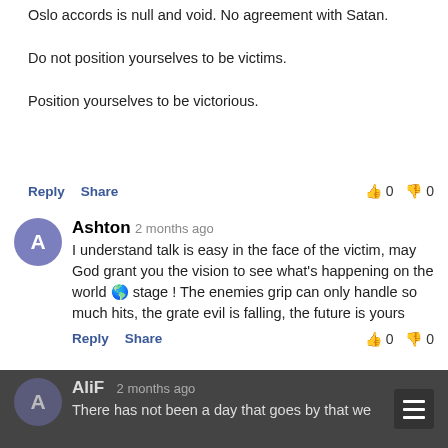Oslo accords is null and void. No agreement with Satan.

Do not position yourselves to be victims.

Position yourselves to be victorious.
Reply  Share  👍 0  👎 0
Ashton  2 months ago
I understand talk is easy in the face of the victim, may God grant you the vision to see what's happening on the world 🌎 stage ! The enemies grip can only handle so much hits, the grate evil is falling, the future is yours
Reply  Share  👍 0  👎 0
Carmen  2 months ago
The genocidal terrorist camp has been killing Palestinian for over 74 years. When the table turns, there will be no mercy!
Reply  Share  👍 0  👎 0
AliF  2 months ago
There has not been a day that goes by that we